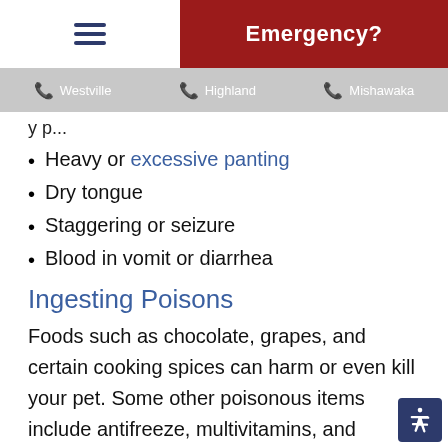Emergency?
Westville  Highland  Mishawaka
Heavy or excessive panting
Dry tongue
Staggering or seizure
Blood in vomit or diarrhea
Ingesting Poisons
Foods such as chocolate, grapes, and certain cooking spices can harm or even kill your pet. Some other poisonous items include antifreeze, multivitamins, and certain plants and flowers. Lilies, for example, are toxic to cats.